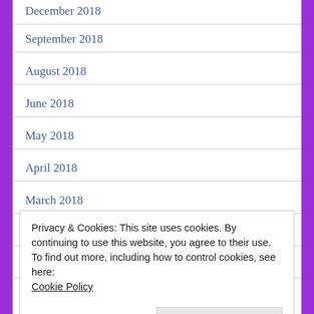December 2018
September 2018
August 2018
June 2018
May 2018
April 2018
March 2018
February 2018
January 2018
Privacy & Cookies: This site uses cookies. By continuing to use this website, you agree to their use.
To find out more, including how to control cookies, see here:
Cookie Policy
Close and accept
September 2017